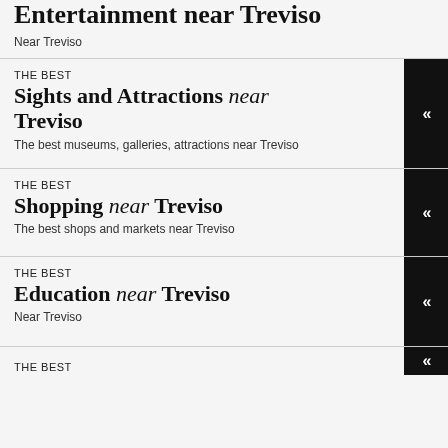Entertainment near Treviso
Near Treviso
THE BEST
Sights and Attractions near Treviso
The best museums, galleries, attractions near Treviso
THE BEST
Shopping near Treviso
The best shops and markets near Treviso
THE BEST
Education near Treviso
Near Treviso
THE BEST